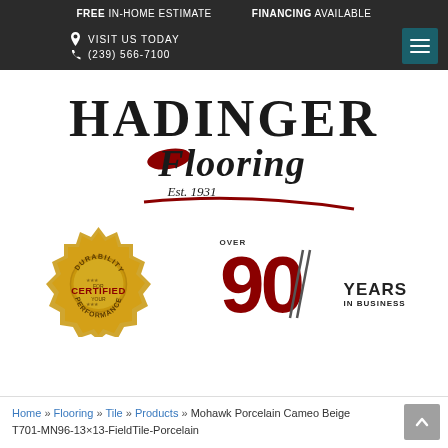FREE IN-HOME ESTIMATE   FINANCING AVAILABLE
VISIT US TODAY
(239) 566-7100
[Figure (logo): Hadinger Flooring logo with script Flooring text, red swoosh, Est. 1931]
[Figure (logo): Gold durability certified seal badge]
[Figure (infographic): Over 90 Years In Business badge with large red 90 and diagonal slash]
Home » Flooring » Tile » Products » Mohawk Porcelain Cameo Beige T701-MN96-13×13-FieldTile-Porcelain